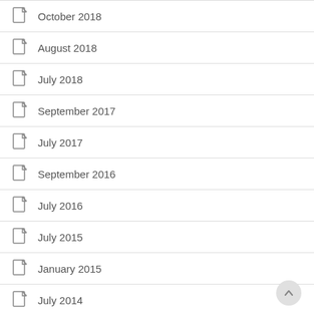October 2018
August 2018
July 2018
September 2017
July 2017
September 2016
July 2016
July 2015
January 2015
July 2014
June 2014
November 2007